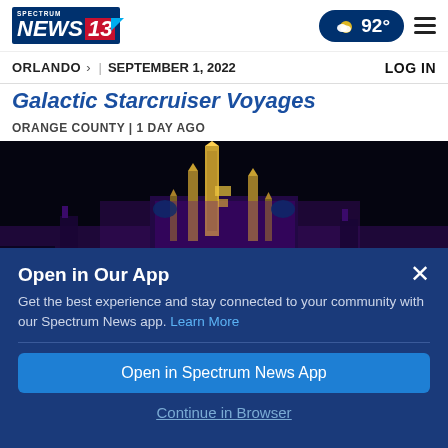Spectrum News 13 | 92° | ORLANDO | SEPTEMBER 1, 2022 | LOG IN
Galactic Starcruiser Voyages
ORANGE COUNTY | 1 DAY AGO
[Figure (photo): Cinderella Castle at Walt Disney World illuminated at night with purple and gold lighting against a black sky]
Open in Our App
Get the best experience and stay connected to your community with our Spectrum News app. Learn More
Open in Spectrum News App
Continue in Browser